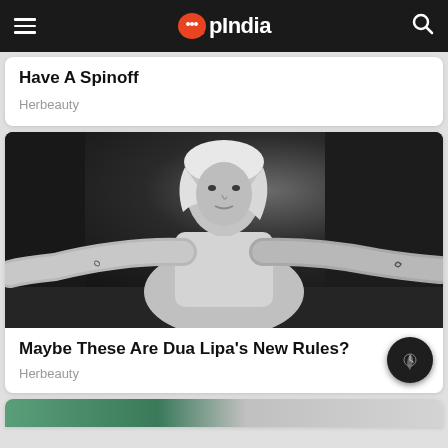OpIndia
Have A Spinoff
Herbeauty
[Figure (photo): Black and white photo of a woman with blonde hair wearing a light sports bra top, arms spread wide, looking directly at camera]
Maybe These Are Dua Lipa's New Rules?
Herbeauty
[Figure (photo): Partial view of a third article card at the bottom of the page]